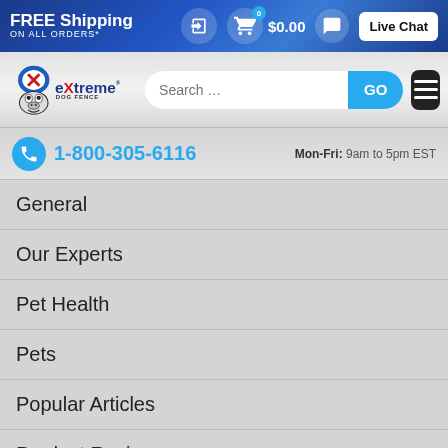FREE Shipping ON ALL ORDERS*
[Figure (logo): Extreme Dog Fence logo with bulldog mascot]
Search ...
1-800-305-6116  Mon-Fri: 9am to 5pm EST
General
Our Experts
Pet Health
Pets
Popular Articles
Product Reviews
[Figure (logo): TrustedSite Certified Secure badge]